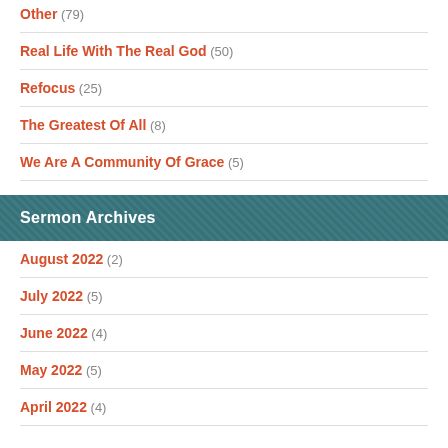Other (79)
Real Life With The Real God (50)
Refocus (25)
The Greatest Of All (8)
We Are A Community Of Grace (5)
Sermon Archives
August 2022 (2)
July 2022 (5)
June 2022 (4)
May 2022 (5)
April 2022 (4)